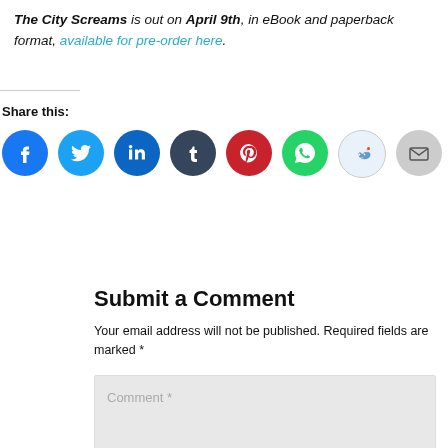The City Screams is out on April 9th, in eBook and paperback format, available for pre-order here.
Share this:
[Figure (infographic): Row of social media sharing icons: Facebook (blue), Twitter (blue), LinkedIn (dark blue), Tumblr (dark navy), Pinterest (red), WhatsApp (green), Reddit (light blue/white), Email (grey)]
Submit a Comment
Your email address will not be published. Required fields are marked *
Comment *